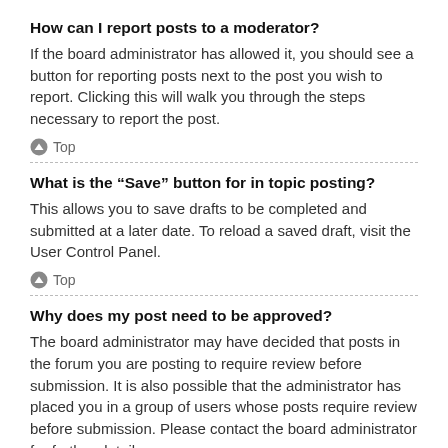How can I report posts to a moderator?
If the board administrator has allowed it, you should see a button for reporting posts next to the post you wish to report. Clicking this will walk you through the steps necessary to report the post.
⬆ Top
What is the “Save” button for in topic posting?
This allows you to save drafts to be completed and submitted at a later date. To reload a saved draft, visit the User Control Panel.
⬆ Top
Why does my post need to be approved?
The board administrator may have decided that posts in the forum you are posting to require review before submission. It is also possible that the administrator has placed you in a group of users whose posts require review before submission. Please contact the board administrator for further details.